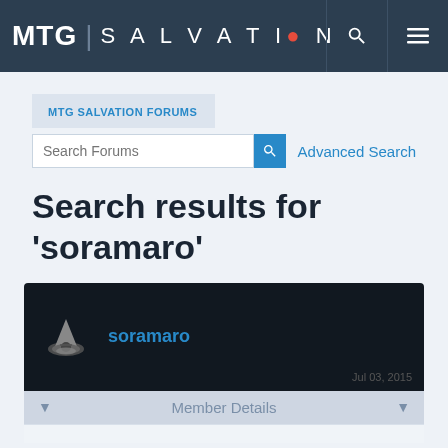MTG | SALVATION
MTG SALVATION FORUMS
Search Forums
Advanced Search
Search results for 'soramaro'
soramaro
Member Details